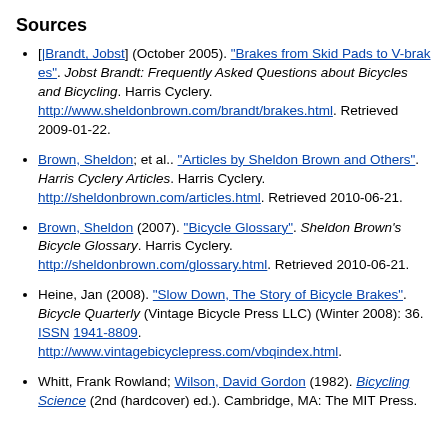Sources
[|Brandt, Jobst] (October 2005). "Brakes from Skid Pads to V-brakes". Jobst Brandt: Frequently Asked Questions about Bicycles and Bicycling. Harris Cyclery. http://www.sheldonbrown.com/brandt/brakes.html. Retrieved 2009-01-22.
Brown, Sheldon; et al.. "Articles by Sheldon Brown and Others". Harris Cyclery Articles. Harris Cyclery. http://sheldonbrown.com/articles.html. Retrieved 2010-06-21.
Brown, Sheldon (2007). "Bicycle Glossary". Sheldon Brown's Bicycle Glossary. Harris Cyclery. http://sheldonbrown.com/glossary.html. Retrieved 2010-06-21.
Heine, Jan (2008). "Slow Down, The Story of Bicycle Brakes". Bicycle Quarterly (Vintage Bicycle Press LLC) (Winter 2008): 36. ISSN 1941-8809. http://www.vintagebicyclepress.com/vbqindex.html.
Whitt, Frank Rowland; Wilson, David Gordon (1982). Bicycling Science (2nd (hardcover) ed.). Cambridge, MA: The MIT Press.